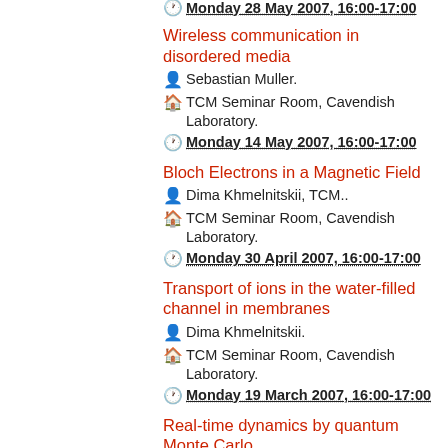Monday 28 May 2007, 16:00-17:00
Wireless communication in disordered media
Sebastian Muller.
TCM Seminar Room, Cavendish Laboratory.
Monday 14 May 2007, 16:00-17:00
Bloch Electrons in a Magnetic Field
Dima Khmelnitskii, TCM..
TCM Seminar Room, Cavendish Laboratory.
Monday 30 April 2007, 16:00-17:00
Transport of ions in the water-filled channel in membranes
Dima Khmelnitskii.
TCM Seminar Room, Cavendish Laboratory.
Monday 19 March 2007, 16:00-17:00
Real-time dynamics by quantum Monte Carlo
Martin Hohenadler.